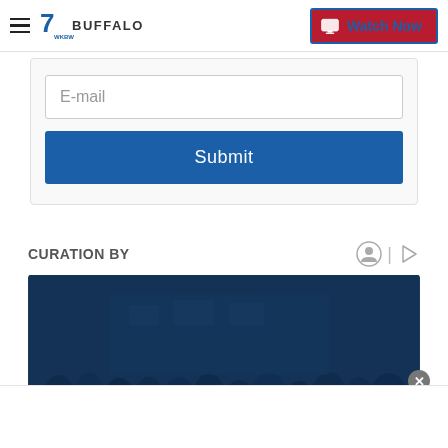7 WKBW BUFFALO — Watch Now
E-mail
Submit
CURATION BY
[Figure (photo): Crowd of people gathered outdoors with #BUFFALO text overlay on a dark blue tinted image]
×